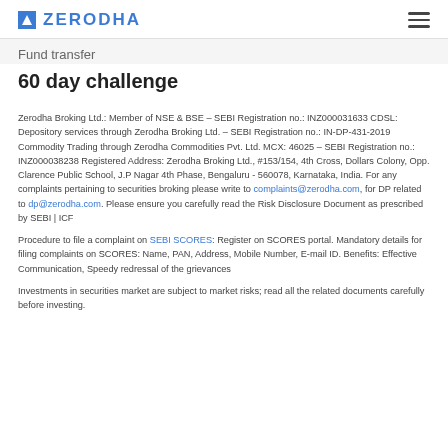ZERODHA
Fund transfer
60 day challenge
Zerodha Broking Ltd.: Member of NSE & BSE – SEBI Registration no.: INZ000031633 CDSL: Depository services through Zerodha Broking Ltd. – SEBI Registration no.: IN-DP-431-2019 Commodity Trading through Zerodha Commodities Pvt. Ltd. MCX: 46025 – SEBI Registration no.: INZ000038238 Registered Address: Zerodha Broking Ltd., #153/154, 4th Cross, Dollars Colony, Opp. Clarence Public School, J.P Nagar 4th Phase, Bengaluru - 560078, Karnataka, India. For any complaints pertaining to securities broking please write to complaints@zerodha.com, for DP related to dp@zerodha.com. Please ensure you carefully read the Risk Disclosure Document as prescribed by SEBI | ICF
Procedure to file a complaint on SEBI SCORES: Register on SCORES portal. Mandatory details for filing complaints on SCORES: Name, PAN, Address, Mobile Number, E-mail ID. Benefits: Effective Communication, Speedy redressal of the grievances
Investments in securities market are subject to market risks; read all the related documents carefully before investing.